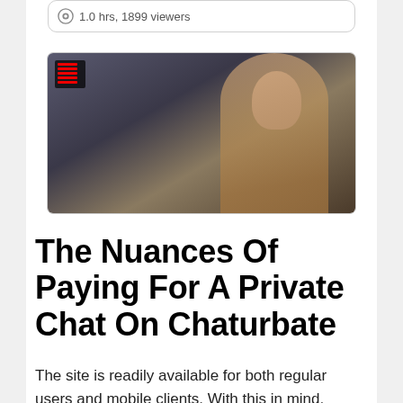1.0 hrs, 1899 viewers
[Figure (photo): A shirtless muscular man sitting on a bed with pillows, webcam screenshot thumbnail from a streaming site.]
The Nuances Of Paying For A Private Chat On Chaturbate
The site is readily available for both regular users and mobile clients. With this in mind,